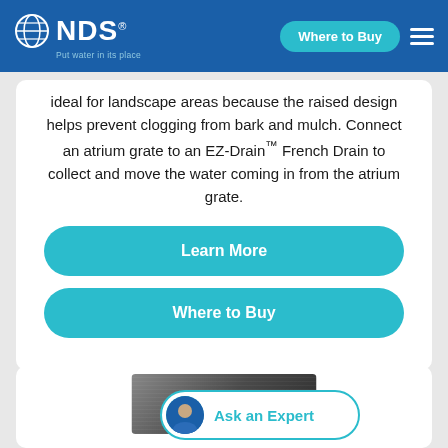[Figure (logo): NDS logo with globe icon and tagline 'Put water in its place' on blue header bar, with 'Where to Buy' teal pill button and hamburger menu icon]
ideal for landscape areas because the raised design helps prevent clogging from bark and mulch. Connect an atrium grate to an EZ-Drain™ French Drain to collect and move the water coming in from the atrium grate.
Learn More
Where to Buy
[Figure (photo): Partial product photo showing dark gravel/mulch surface]
Ask an Expert